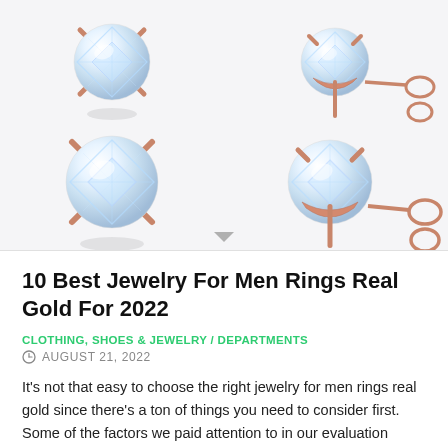[Figure (photo): Product photo showing rose gold diamond stud earrings in a 2x2 grid layout. Top row: front view of round brilliant diamond stud (left), side view showing stud with butterfly backing (right). Bottom row: same earring front view slightly larger (left), side view of larger earring with post and butterfly backing (right). Background is light grey/white.]
10 Best Jewelry For Men Rings Real Gold For 2022
CLOTHING, SHOES & JEWELRY / DEPARTMENTS
AUGUST 21, 2022
It's not that easy to choose the right jewelry for men rings real gold since there's a ton of things you need to consider first. Some of the factors we paid attention to in our evaluation when reviewing the top jewelry for men rings real gold on the market. Through our